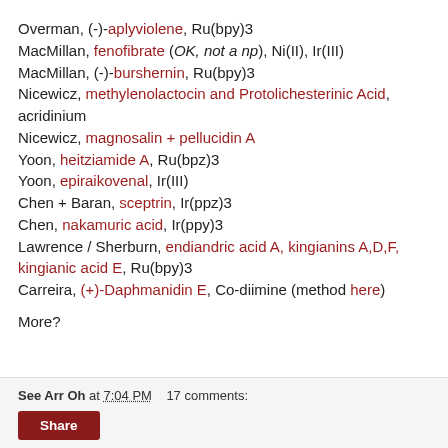Overman, (-)-aplyviolene, Ru(bpy)3
MacMillan, fenofibrate (OK, not a np), Ni(II), Ir(III)
MacMillan, (-)-burshernin, Ru(bpy)3
Nicewicz, methylenolactocin and Protolichesterinic Acid, acridinium
Nicewicz, magnosalin + pellucidin A
Yoon, heitziamide A, Ru(bpz)3
Yoon, epiraikovenal, Ir(III)
Chen + Baran, sceptrin, Ir(ppz)3
Chen, nakamuric acid, Ir(ppy)3
Lawrence / Sherburn, endiandric acid A, kingianins A,D,F, kingianic acid E, Ru(bpy)3
Carreira, (+)-Daphmanidin E, Co-diimine (method here)
More?
See Arr Oh at 7:04 PM   17 comments: